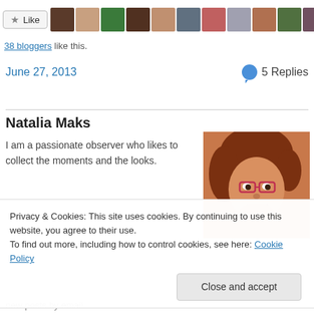[Figure (screenshot): Like button with star icon followed by a strip of 11 blogger avatar thumbnails]
38 bloggers like this.
June 27, 2013    💬 5 Replies
Natalia Maks
I am a passionate observer who likes to collect the moments and the looks.
[Figure (photo): Portrait photo of Natalia Maks, a woman with reddish-brown hair and glasses]
Privacy & Cookies: This site uses cookies. By continuing to use this website, you agree to their use.
To find out more, including how to control cookies, see here: Cookie Policy
new posts by email.